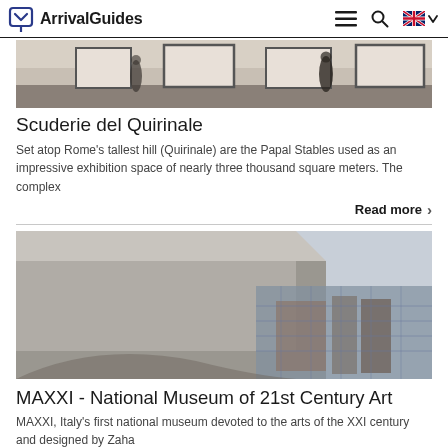ArrivalGuides
[Figure (photo): Interior of an art gallery with blurred figures walking past large framed artworks on white walls]
Scuderie del Quirinale
Set atop Rome's tallest hill (Quirinale) are the Papal Stables used as an impressive exhibition space of nearly three thousand square meters. The complex
Read more ›
[Figure (photo): Exterior view of a modern concrete building (MAXXI) with angular geometric forms and a glass section reflecting surrounding buildings]
MAXXI - National Museum of 21st Century Art
MAXXI, Italy's first national museum devoted to the arts of the XXI century and designed by Zaha
Read more ›